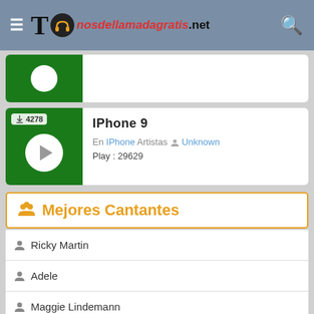Tonosdellamadagratis.net
[Figure (screenshot): Partially visible music card with green thumbnail and white circle]
[Figure (screenshot): Music card for IPhone 9 with green play button thumbnail, download count 4278, En IPhone Artistas Unknown, Play: 29629]
Mejores Cantantes
Ricky Martin
Adele
Maggie Lindemann
Juice WRLD
Iggy Azalea
Kehlani